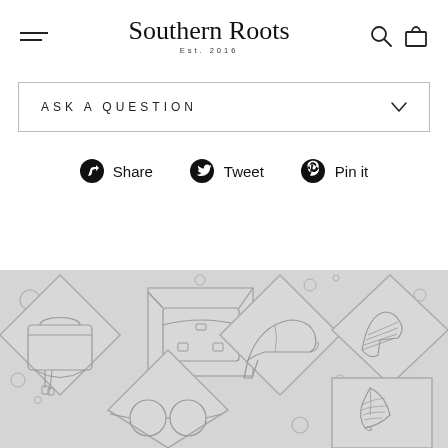Southern Roots Est. 2016
ASK A QUESTION
Share  Tweet  Pin it
[Figure (illustration): Gray decorative banner with outline illustrations of fashion accessories: handbag, satchel/messenger bag, high heel shoes, boots/shoes, sunglasses, and a feather pen — arranged in geometric diamond and square frames on a light gray background with small circles scattered around.]